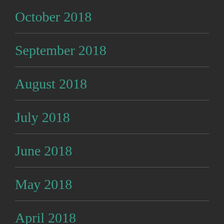October 2018
September 2018
August 2018
July 2018
June 2018
May 2018
April 2018